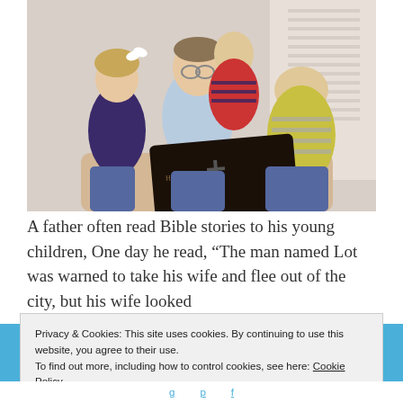[Figure (photo): A father sitting with three young children, reading from a large black Holy Bible book. Two boys and a girl surround him; girl has a bow in her hair, one boy wears red striped shirt, another wears yellow striped shirt.]
A father often read Bible stories to his young children, One day he read, “The man named Lot was warned to take his wife and flee out of the city, but his wife looked
Privacy & Cookies: This site uses cookies. By continuing to use this website, you agree to their use.
To find out more, including how to control cookies, see here: Cookie Policy
Close and accept